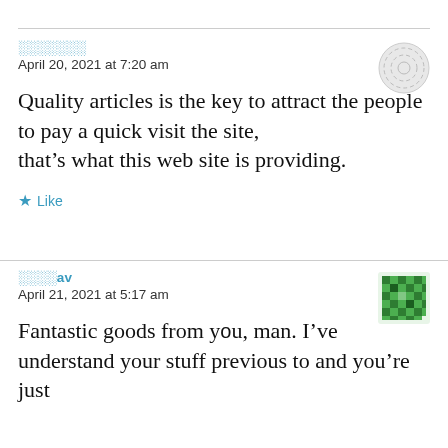░░░░░░░
April 20, 2021 at 7:20 am
Quality articles is the key to attract the people to pay a quick visit the site, that's what this web site is providing.
★ Like
░░░░av
April 21, 2021 at 5:17 am
Fantastic goods from you, man. I've understand your stuff previous to and you're just